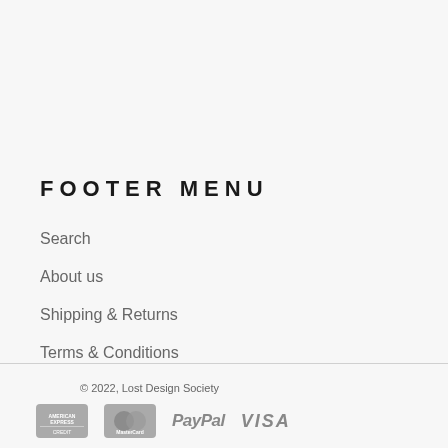FOOTER MENU
Search
About us
Shipping & Returns
Terms & Conditions
Contact Us
Read More
© 2022, Lost Design Society
[Figure (logo): Payment method icons: American Express, MasterCard, PayPal, VISA]